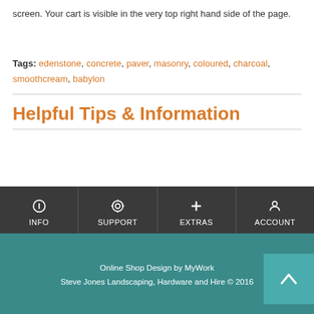screen. Your cart is visible in the very top right hand side of the page.
Tags: edenstone, concrete, paver, masonry, coloured, charcoal, smoothcream, babylon
Helpful Tips & Information
INFO  SUPPORT  EXTRAS  ACCOUNT
Online Shop Design by MyWork
Steve Jones Landscaping, Hardware and Hire © 2016